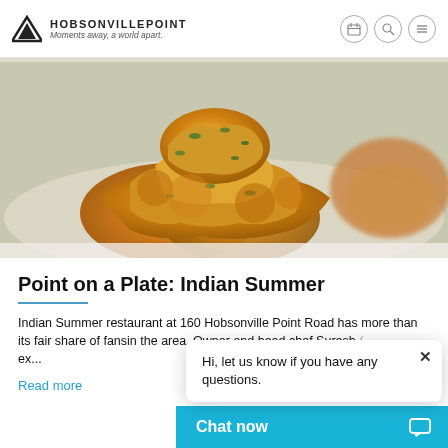HobsonvillePoint — Moments away, a world apart.
[Figure (photo): Close-up photo of golden-fried Indian pakoras/fritters piled on a plate, with green herbs visible, warm orange-yellow tones.]
Point on a Plate: Indian Summer
Indian Summer restaurant at 160 Hobsonville Point Road has more than its fair share of fansin the area. Owner and head chef Suresh (... text continues ...) ex...
Read more
Hi, let us know if you have any questions.
Chat now